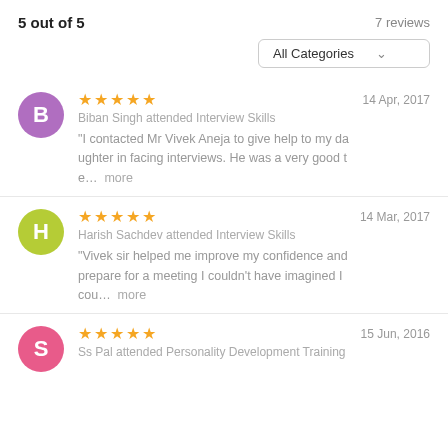5 out of 5
7 reviews
All Categories
Biban Singh attended Interview Skills
"I contacted Mr Vivek Aneja to give help to my daughter in facing interviews. He was a very good te... more
14 Apr, 2017
Harish Sachdev attended Interview Skills
"Vivek sir helped me improve my confidence and prepare for a meeting I couldn't have imagined I cou... more
14 Mar, 2017
Ss Pal attended Personality Development Training
15 Jun, 2016